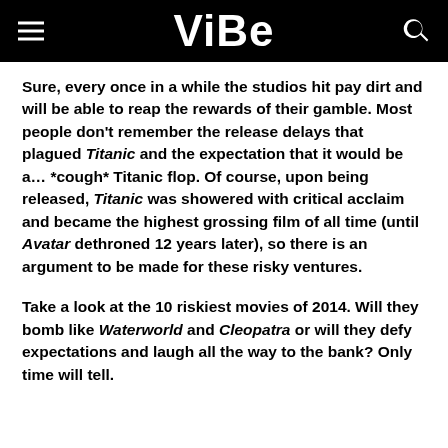VIBE
Sure, every once in a while the studios hit pay dirt and will be able to reap the rewards of their gamble. Most people don't remember the release delays that plagued Titanic and the expectation that it would be a… *cough* Titanic flop. Of course, upon being released, Titanic was showered with critical acclaim and became the highest grossing film of all time (until Avatar dethroned 12 years later), so there is an argument to be made for these risky ventures.
Take a look at the 10 riskiest movies of 2014. Will they bomb like Waterworld and Cleopatra or will they defy expectations and laugh all the way to the bank? Only time will tell.